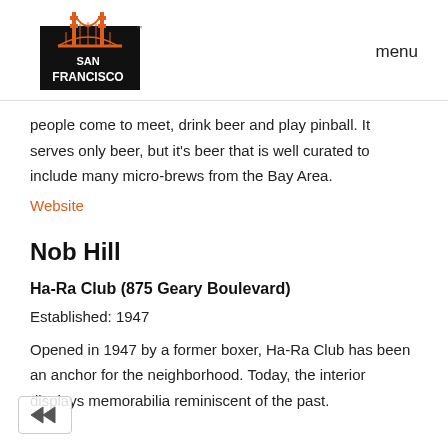[Figure (logo): San Francisco travel guide logo with Golden Gate Bridge illustration and text SAN FRANCISCO on a black badge]
menu
people come to meet, drink beer and play pinball. It serves only beer, but it's beer that is well curated to include many micro-brews from the Bay Area.
Website
Nob Hill
Ha-Ra Club (875 Geary Boulevard)
Established: 1947
Opened in 1947 by a former boxer, Ha-Ra Club has been an anchor for the neighborhood. Today, the interior displays memorabilia reminiscent of the past.